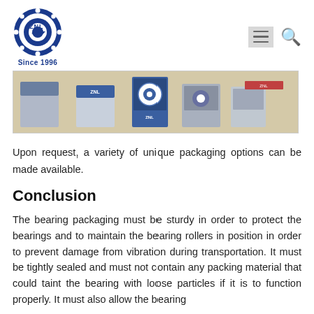[Figure (logo): ZNL bearing company logo with circular gear/bearing symbol and text 'Since 1996']
[Figure (photo): Photo of ZNL bearing product boxes arranged on a surface, showing blue and grey packaging]
Upon request, a variety of unique packaging options can be made available.
Conclusion
The bearing packaging must be sturdy in order to protect the bearings and to maintain the bearing rollers in position in order to prevent damage from vibration during transportation. It must be tightly sealed and must not contain any packing material that could taint the bearing with loose particles if it is to function properly. It must also allow the bearing